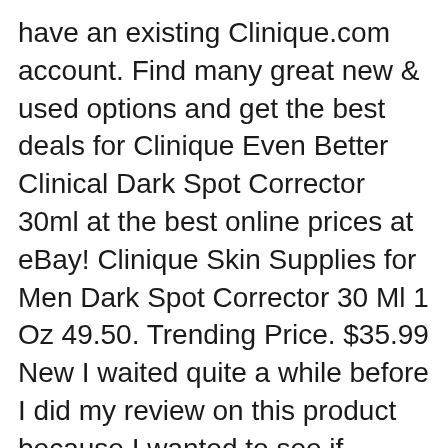have an existing Clinique.com account. Find many great new & used options and get the best deals for Clinique Even Better Clinical Dark Spot Corrector 30ml at the best online prices at eBay! Clinique Skin Supplies for Men Dark Spot Corrector 30 Ml 1 Oz 49.50. Trending Price. $35.99 New I waited quite a while before I did my review on this product because I wanted to see if
Clinique For Menв„ÿ Dark Spot Corrector. This item has been added to your favourites. This item has been added to your favourites. This item is already in your favourites. Skin Types: I, II, III, IV. Benefits: Uneven Skin Tone. Helps visibly reduce past damage